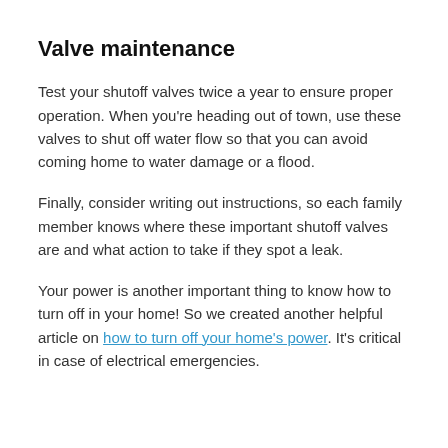Valve maintenance
Test your shutoff valves twice a year to ensure proper operation. When you’re heading out of town, use these valves to shut off water flow so that you can avoid coming home to water damage or a flood.
Finally, consider writing out instructions, so each family member knows where these important shutoff valves are and what action to take if they spot a leak.
Your power is another important thing to know how to turn off in your home! So we created another helpful article on how to turn off your home’s power. It’s critical in case of electrical emergencies.